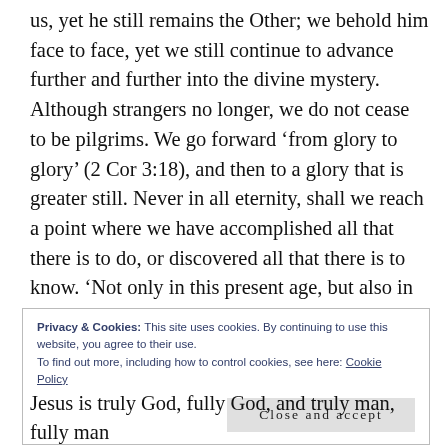us, yet he still remains the Other; we behold him face to face, yet we still continue to advance further and further into the divine mystery. Although strangers no longer, we do not cease to be pilgrims. We go forward ‘from glory to glory’ (2 Cor 3:18), and then to a glory that is greater still. Never in all eternity, shall we reach a point where we have accomplished all that there is to do, or discovered all that there is to know. ‘Not only in this present age, but also in the Age to come,’ says St. Irenaeus, ‘God will always have something more to teach man, and man will always have something more to learn from God’”
Privacy & Cookies: This site uses cookies. By continuing to use this website, you agree to their use.
To find out more, including how to control cookies, see here: Cookie Policy
Close and accept
Jesus is truly God, fully God, and truly man, fully man